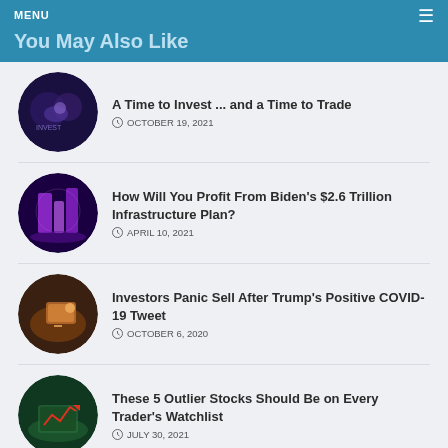MENU
You May Also Like
A Time to Invest ... and a Time to Trade
OCTOBER 19, 2021
How Will You Profit From Biden's $2.6 Trillion Infrastructure Plan?
APRIL 10, 2021
Investors Panic Sell After Trump's Positive COVID-19 Tweet
OCTOBER 6, 2020
These 5 Outlier Stocks Should Be on Every Trader's Watchlist
JULY 30, 2021